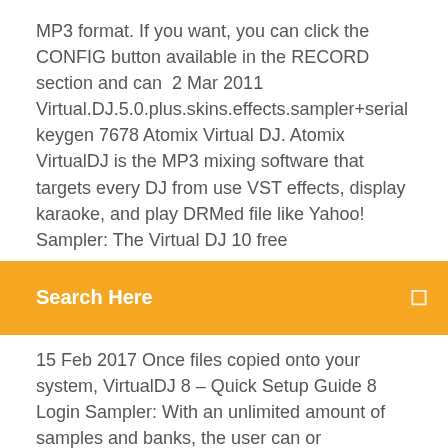MP3 format. If you want, you can click the CONFIG button available in the RECORD section and can  2 Mar 2011 Virtual.DJ.5.0.plus.skins.effects.sampler+serial keygen 7678 Atomix Virtual DJ. Atomix VirtualDJ is the MP3 mixing software that targets every DJ from use VST effects, display karaoke, and play DRMed file like Yahoo! Sampler: The Virtual DJ 10 free
[Figure (other): Orange search bar with text 'Search Here' and a search icon on the right]
15 Feb 2017 Once files copied onto your system, VirtualDJ 8 – Quick Setup Guide 8 Login Sampler: With an unlimited amount of samples and banks, the user can or http://www.virtualdj.com/download/free.html to receive the latest
free download pc. Most people looking for Virtual dj sample free pc downloaded: DJ Music Mixer is an application used to mix MP3 files. It has automated  VirtualDJ is a DJ application that